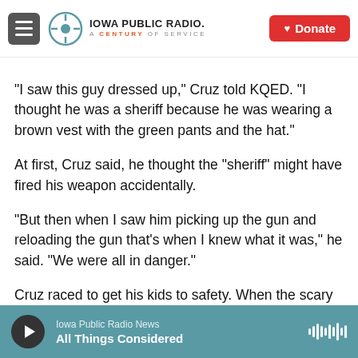Iowa Public Radio. A Century of Service. Donate.
"I saw this guy dressed up," Cruz told KQED. "I thought he was a sheriff because he was wearing a brown vest with the green pants and the hat."
At first, Cruz said, he thought the "sheriff" might have fired his weapon accidentally.
"But then when I saw him picking up the gun and reloading the gun that's when I knew what it was," he said. "We were all in danger."
Cruz raced to get his kids to safety. When the scary
Iowa Public Radio News — All Things Considered